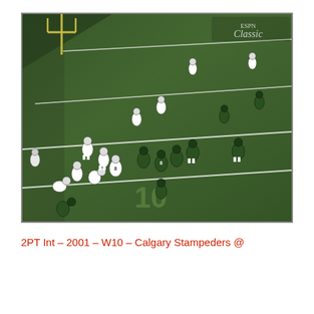[Figure (photo): Aerial broadcast screenshot from ESPN Classic of a Canadian Football League game. Teams are lined up at the line of scrimmage near the 10-yard line on a green turf field. Players in white uniforms face off against players in green uniforms. The ESPN Classic watermark logo is visible in the upper right corner of the broadcast frame.]
2PT Int – 2001 – W10 – Calgary Stampeders @